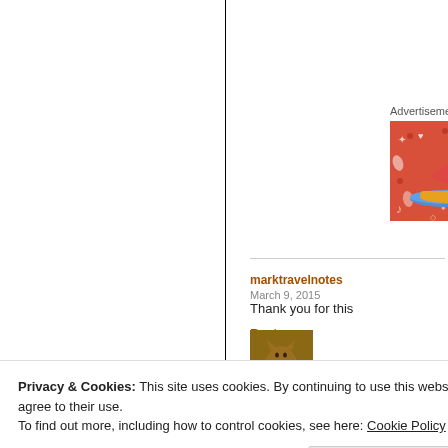Advertisements
[Figure (illustration): Advertisement image showing a cartoon sailboat on water with pink/red background, hearts and decorative elements]
marktravelnotes
March 9, 2015
Thank you for this
Reply
[Figure (photo): Photo of a cat lying on a surface]
Privacy & Cookies: This site uses cookies. By continuing to use this website, you agree to their use.
To find out more, including how to control cookies, see here: Cookie Policy
Close and accept